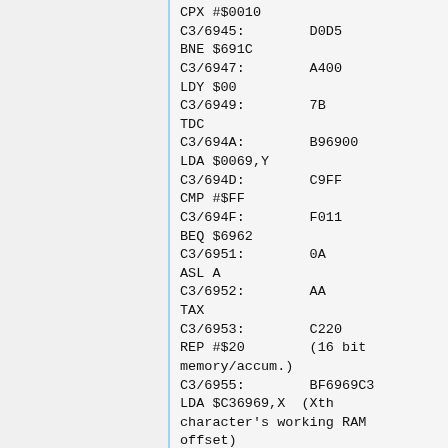CPX #$0010
C3/6945:        D0D5
BNE $691C
C3/6947:        A400
LDY $00
C3/6949:        7B
TDC
C3/694A:        B96900
LDA $0069,Y
C3/694D:        C9FF
CMP #$FF
C3/694F:        F011
BEQ $6962
C3/6951:        0A
ASL A
C3/6952:        AA
TAX
C3/6953:        C220
REP #$20         (16 bit memory/accum.)
C3/6955:        BF6969C3
LDA $C36969,X  (Xth character's working RAM offset)
C3/6959:        48